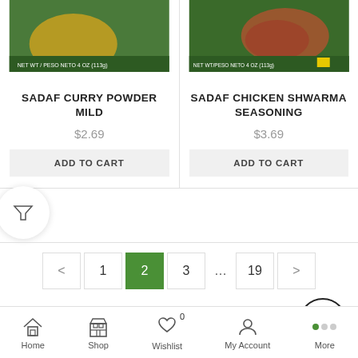[Figure (photo): Product image of Sadaf Curry Powder Mild package (green bag)]
SADAF CURRY POWDER MILD
$2.69
ADD TO CART
[Figure (photo): Product image of Sadaf Chicken Shwarma Seasoning package (green bag)]
SADAF CHICKEN SHWARMA SEASONING
$3.69
ADD TO CART
< 1 2 3 ... 19 >
Home  Shop  Wishlist 0  My Account  More